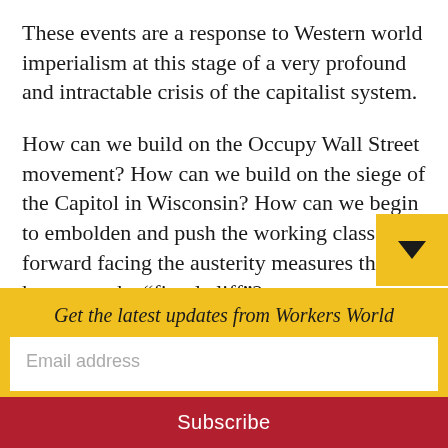These events are a response to Western world imperialism at this stage of a very profound and intractable crisis of the capitalist system.
How can we build on the Occupy Wall Street movement? How can we build on the siege of the Capitol in Wisconsin? How can we begin to embolden and push the working class forward facing the austerity measures that are known as the “fiscal cliff”?
The program the ruling class is going to pu…
Get the latest updates from Workers World
Email address
Subscribe